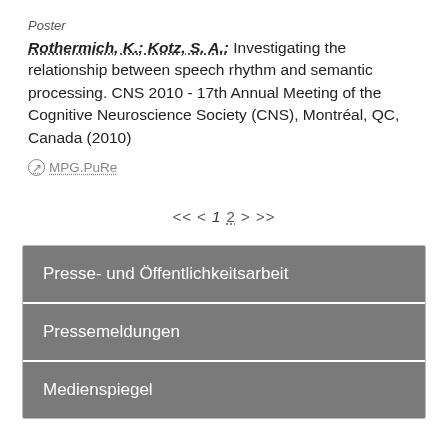Poster
Rothermich, K.; Kotz, S. A.: Investigating the relationship between speech rhythm and semantic processing. CNS 2010 - 17th Annual Meeting of the Cognitive Neuroscience Society (CNS), Montréal, QC, Canada (2010)
MPG.PuRe
<< < 1 2 > >>
Presse- und Öffentlichkeitsarbeit
Pressemeldungen
Medienspiegel